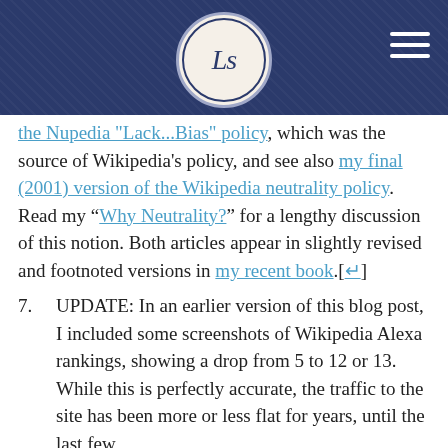LS [logo]
the Nupedia "Lack...Bias" policy, which was the source of Wikipedia's policy, and see also my final (2001) version of the Wikipedia neutrality policy. Read my “Why Neutrality?” for a lengthy discussion of this notion. Both articles appear in slightly revised and footnoted versions in my recent book.[↩]
7. UPDATE: In an earlier version of this blog post, I included some screenshots of Wikipedia Alexa rankings, showing a drop from 5 to 12 or 13. While this is perfectly accurate, the traffic to the site has been more or less flat for years, until the last few